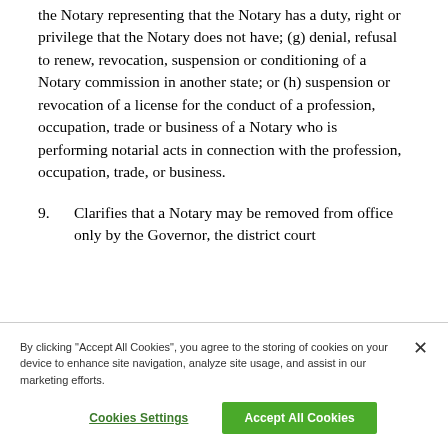the Notary representing that the Notary has a duty, right or privilege that the Notary does not have; (g) denial, refusal to renew, revocation, suspension or conditioning of a Notary commission in another state; or (h) suspension or revocation of a license for the conduct of a profession, occupation, trade or business of a Notary who is performing notarial acts in connection with the profession, occupation, trade, or business.
9. Clarifies that a Notary may be removed from office only by the Governor, the district court
By clicking "Accept All Cookies", you agree to the storing of cookies on your device to enhance site navigation, analyze site usage, and assist in our marketing efforts.